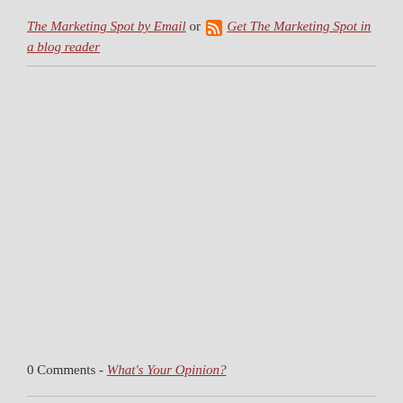The Marketing Spot by Email or [RSS icon] Get The Marketing Spot in a blog reader
0 Comments - What's Your Opinion?